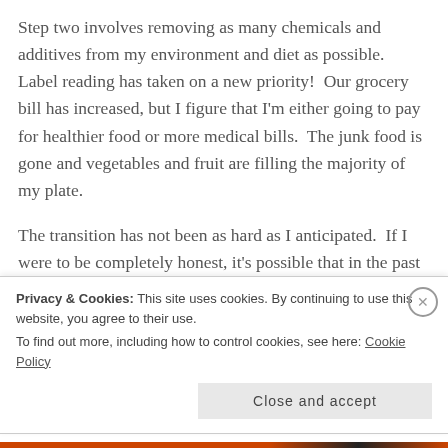Step two involves removing as many chemicals and additives from my environment and diet as possible. Label reading has taken on a new priority! Our grocery bill has increased, but I figure that I'm either going to pay for healthier food or more medical bills. The junk food is gone and vegetables and fruit are filling the majority of my plate.
The transition has not been as hard as I anticipated. If I were to be completely honest, it's possible that in the past I might have considered a box of Little Debbie snack cakes to be an adequate meal. Let's just keep that little
Privacy & Cookies: This site uses cookies. By continuing to use this website, you agree to their use.
To find out more, including how to control cookies, see here: Cookie Policy
Close and accept